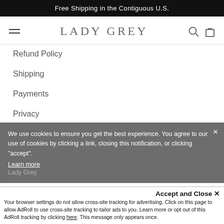Free Shipping in the Contiguous U.S.
LADY GREY
Refund Policy
Shipping
Payments
Privacy
Disclaimer
We use cookies to ensure you get the best experience. You agree to our use of cookies by clicking a link, closing this notification, or clicking "accept". Learn more
Lady Grey
Accept and Close ✕
Your browser settings do not allow cross-site tracking for advertising. Click on this page to allow AdRoll to use cross-site tracking to tailor ads to you. Learn more or opt out of this AdRoll tracking by clicking here. This message only appears once.